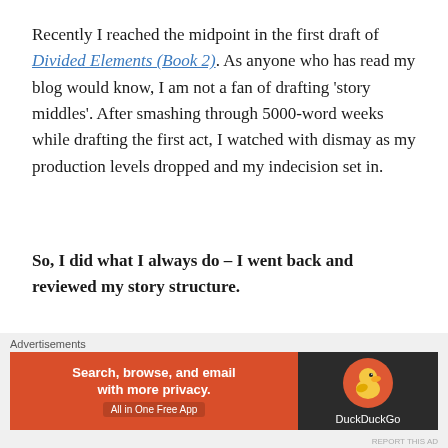Recently I reached the midpoint in the first draft of Divided Elements (Book 2). As anyone who has read my blog would know, I am not a fan of drafting ‘story middles’. After smashing through 5000-word weeks while drafting the first act, I watched with dismay as my production levels dropped and my indecision set in.
So, I did what I always do – I went back and reviewed my story structure.
Like most advice on novel plotting, my own story structure model is great for guiding a writer through
Advertisements
[Figure (other): DuckDuckGo advertisement banner: orange left side with text 'Search, browse, and email with more privacy. All in One Free App', dark right side with DuckDuckGo duck logo and brand name.]